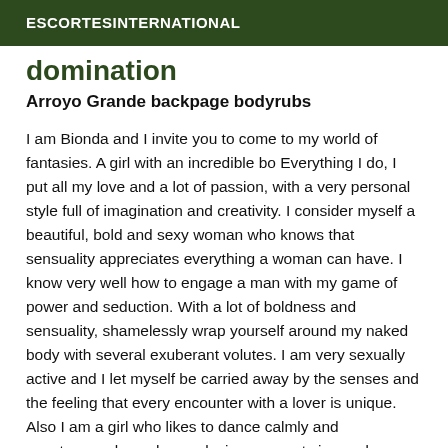ESCORTESINTERNATIONAL
domination
Arroyo Grande backpage bodyrubs
I am Bionda and I invite you to come to my world of fantasies. A girl with an incredible bo Everything I do, I put all my love and a lot of passion, with a very personal style full of imagination and creativity. I consider myself a beautiful, bold and sexy woman who knows that sensuality appreciates everything a woman can have. I know very well how to engage a man with my game of power and seduction. With a lot of boldness and sensuality, shamelessly wrap yourself around my naked body with several exuberant volutes. I am very sexually active and I let myself be carried away by the senses and the feeling that every encounter with a lover is unique. Also I am a girl who likes to dance calmly and spontaneously or share relaxing moments in good company. I can also accompany you on a trip, an